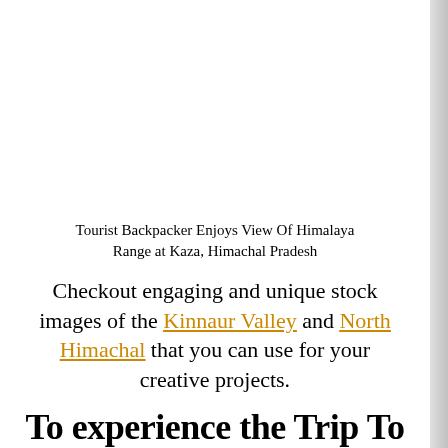[Figure (photo): White/blank space representing a photo placeholder of Tourist Backpacker Enjoys View Of Himalaya Range at Kaza, Himachal Pradesh]
Tourist Backpacker Enjoys View Of Himalaya Range at Kaza, Himachal Pradesh
Checkout engaging and unique stock images of the Kinnaur Valley and North Himachal that you can use for your creative projects.
To experience the Trip To